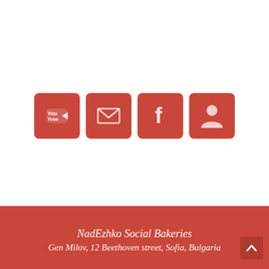[Figure (infographic): Four red rounded-square social media / contact icon buttons in a row: YouTube, Email (envelope), Facebook (f), and a contact/person icon.]
NadEzhko Social Bakeries
Gen Milov, 12 Beethoven street, Sofia, Bulgaria